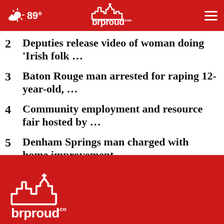89° brproud
2 Deputies release video of woman doing 'Irish folk …
3 Baton Rouge man arrested for raping 12-year-old, …
4 Community employment and resource fair hosted by …
5 Denham Springs man charged with home improvement …
brproud logo